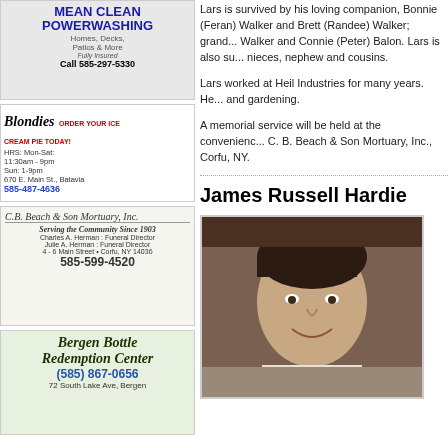[Figure (illustration): Mean Clean Powerwashing advertisement with cartoon character. Homes, Decks, Patios & More. Fully Insured. Call 585-297-5330]
[Figure (illustration): Blondies advertisement. ORDER YOUR ICE CREAM PIE TODAY! HRS: Mon-Sat: 11:30am - 9pm, Sun: 1-9pm. 670 E. Main St., Batavia. 585-487-4636]
[Figure (illustration): C.B. Beach & Son Mortuary, Inc. advertisement. Serving the Community Since 1903. Charles A. Herman: Funeral Director. Julie A. Herman: Funeral Director. 4-6 Main Street, Corfu, NY 14036. 585-599-4520]
[Figure (illustration): Bergen Bottle Redemption Center advertisement. (585) 867-0656. 72 South Lake Ave, Bergen]
Recent comments
I thought you did as good a
by: John Roach
Lars is survived by his loving companion, Bonnie (Feran) Walker and Brett (Randee) Walker; grand... Walker and Connie (Peter) Balon. Lars is also su... nieces, nephew and cousins.
Lars worked at Heil Industries for many years. He... and gardening.
A memorial service will be held at the convenienc... C. B. Beach & Son Mortuary, Inc., Corfu, NY.
James Russell Hardie
[Figure (photo): Portrait photo of James Russell Hardie, a man with dark hair smiling, wearing a white shirt]